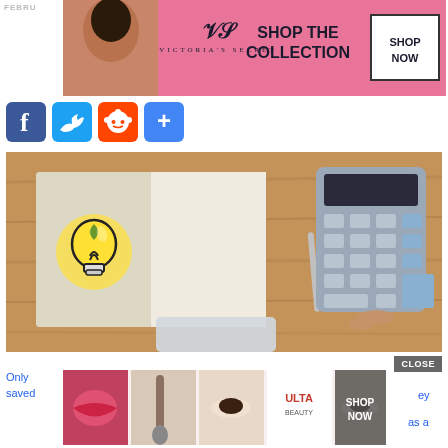FEBR…
[Figure (photo): Victoria's Secret advertisement banner: woman with curly hair, pink background, text 'SHOP THE COLLECTION', 'SHOP NOW' button]
[Figure (photo): Social media share icons: Facebook (blue), Twitter (blue), Reddit (orange), More/Share (blue plus)]
[Figure (photo): Overhead photo of a person using a calculator at a wooden desk with an open notebook showing a lightbulb drawing]
[Figure (photo): ULTA beauty advertisement strip with makeup images and 'SHOP NOW' button, overlaid on article]
Only … saved … as a